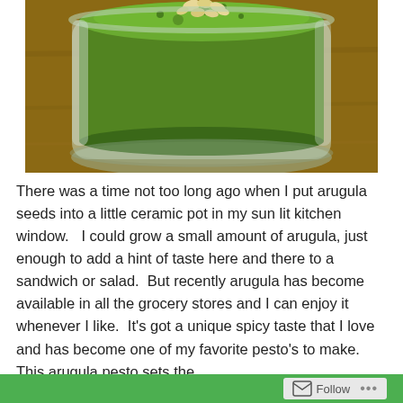[Figure (photo): A glass jar filled with bright green arugula pesto, topped with pine nuts, sitting on a wooden surface.]
There was a time not too long ago when I put arugula seeds into a little ceramic pot in my sun lit kitchen window.   I could grow a small amount of arugula, just enough to add a hint of taste here and there to a sandwich or salad.  But recently arugula has become available in all the grocery stores and I can enjoy it whenever I like.  It's got a unique spicy taste that I love and has become one of my favorite pesto's to make.  This arugula pesto sets the
Follow